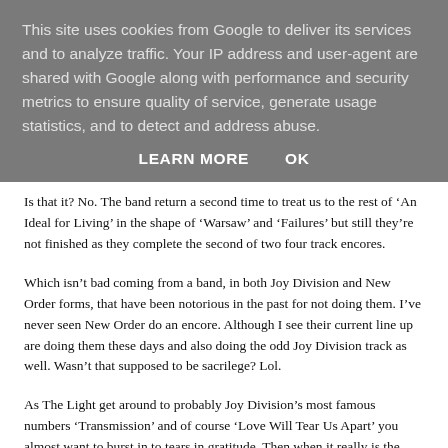This site uses cookies from Google to deliver its services and to analyze traffic. Your IP address and user-agent are shared with Google along with performance and security metrics to ensure quality of service, generate usage statistics, and to detect and address abuse.
LEARN MORE    OK
Is that it? No. The band return a second time to treat us to the rest of ‘An Ideal for Living’ in the shape of ‘Warsaw’ and ‘Failures’ but still they’re not finished as they complete the second of two four track encores.
Which isn’t bad coming from a band, in both Joy Division and New Order forms, that have been notorious in the past for not doing them. I’ve never seen New Order do an encore. Although I see their current line up are doing them these days and also doing the odd Joy Division track as well. Wasn’t that supposed to be sacrilege? Lol.
As The Light get around to probably Joy Division’s most famous numbers ‘Transmission’ and of course ‘Love Will Tear Us Apart’ you almost want to burst in to tears in gratitude. Then when it really is the end, Hooky sheds his t-shirt and throws it triumphantly into the crowd. Job done. Point made.